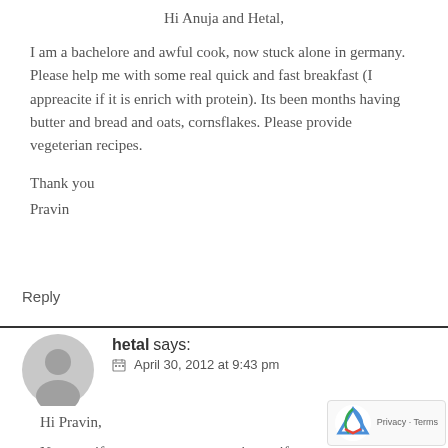Hi Anuja and Hetal,
I am a bachelore and awful cook, now stuck alone in germany. Please help me with some real quick and fast breakfast (I appreacite if it is enrich with protein). Its been months having butter and bread and oats, cornsflakes. Please provide vegeterian recipes.
Thank you
Pravin
Reply
hetal says:
April 30, 2012 at 9:43 pm
Hi Pravin,
Not sure if you are a pure vegetarian or if you eat e… hard to get protein in breakfast without eggs. Here… some ideas: Eggless French Toast, Mushrooms on Toast,